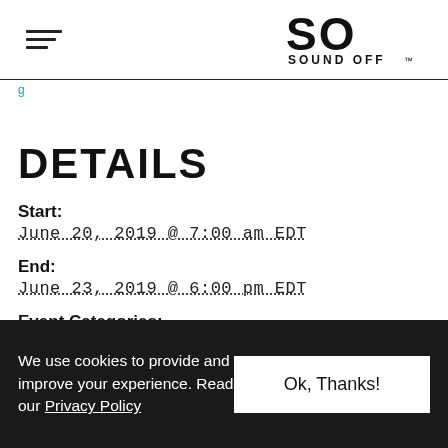SO SOUND OFF™ [hamburger menu icon]
g (navigation link, cyan)
DETAILS
Start:
June 20, 2019 @ 7:00 am EDT
End:
June 23, 2019 @ 6:00 pm EDT
Event Categories:
Fitness & Wellness, Stratton, VT
We use cookies to provide and improve your experience. Read our Privacy Policy   Ok, Thanks!